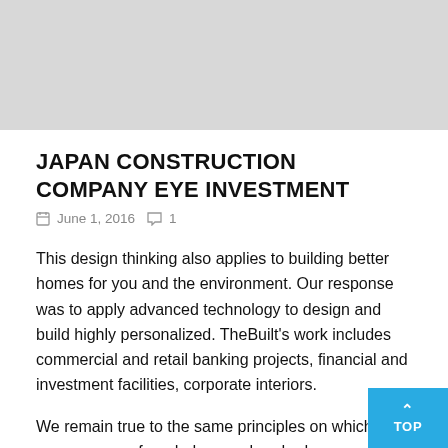[Figure (photo): Gray placeholder image at top of page]
JAPAN CONSTRUCTION COMPANY EYE INVESTMENT
June 1, 2016   1
This design thinking also applies to building better homes for you and the environment. Our response was to apply advanced technology to design and build highly personalized. TheBuilt's work includes commercial and retail banking projects, financial and investment facilities, corporate interiors.
We remain true to the same principles on which our company was founded over a hundred years ago: providing superior se our clients, putting safety first, creating opportunities for ou delivering exceptional work, fostering innovation, acting with